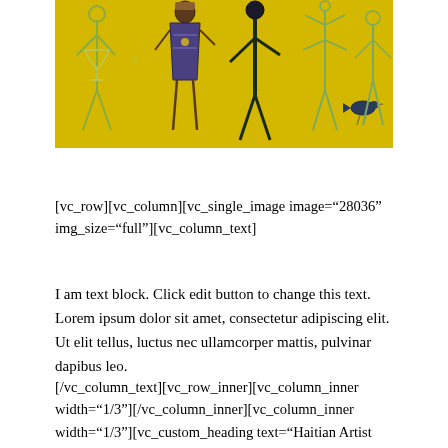[Figure (illustration): Colorful artwork on yellow background showing stylized human figures, a bird, and abstract elements painted in a naïve/folk art style reminiscent of Haitian art.]
[vc_row][vc_column][vc_single_image image="28036" img_size="full"][vc_column_text]
I am text block. Click edit button to change this text. Lorem ipsum dolor sit amet, consectetur adipiscing elit. Ut elit tellus, luctus nec ullamcorper mattis, pulvinar dapibus leo.
[/vc_column_text][vc_row_inner][vc_column_inner width="1/3"][/vc_column_inner][vc_column_inner width="1/3"][vc_custom_heading text="Haitian Artist Addresses Tragedy of 2010 Earthquake Through Poignant Artwork" font_container="tag:h1|text_align:left" undefined=""]